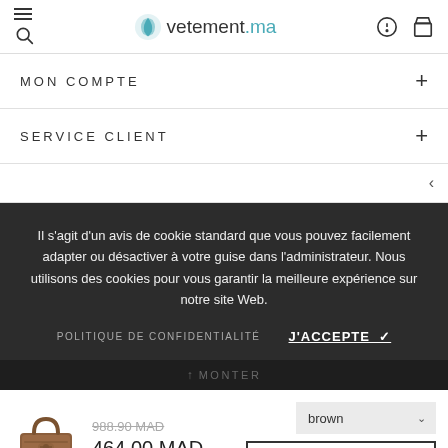vetement.ma
MON COMPTE
SERVICE CLIENT
Il s'agit d'un avis de cookie standard que vous pouvez facilement adapter ou désactiver à votre guise dans l'administrateur. Nous utilisons des cookies pour vous garantir la meilleure expérience sur notre site Web.
POLITIQUE DE CONFIDENTIALITÉ   J'ACCEPTE ✓
↑ MONTER
988.90 MAD
464.00 MAD
brown
AJOUTER AU PANIER